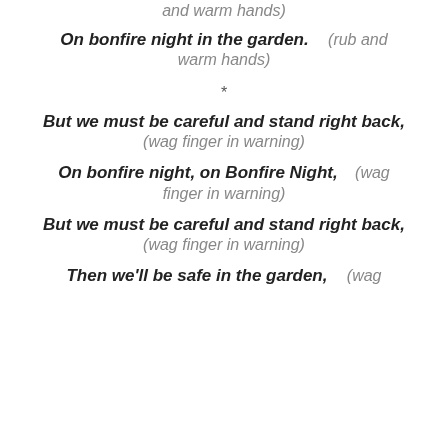and warm hands)
On bonfire night in the garden.   (rub and warm hands)
*
But we must be careful and stand right back,   (wag finger in warning)
On bonfire night, on Bonfire Night,   (wag finger in warning)
But we must be careful and stand right back,   (wag finger in warning)
Then we'll be safe in the garden,   (wag